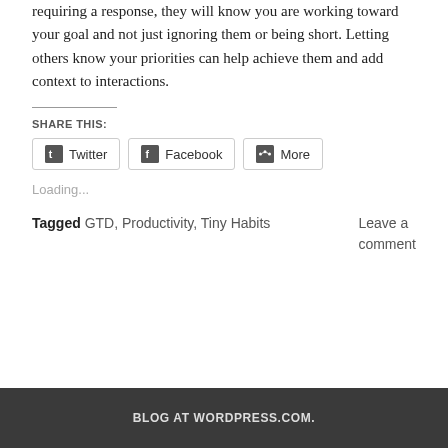requiring a response, they will know you are working toward your goal and not just ignoring them or being short. Letting others know your priorities can help achieve them and add context to interactions.
SHARE THIS:
Twitter  Facebook  More
Loading...
Tagged GTD, Productivity, Tiny Habits   Leave a comment
BLOG AT WORDPRESS.COM.